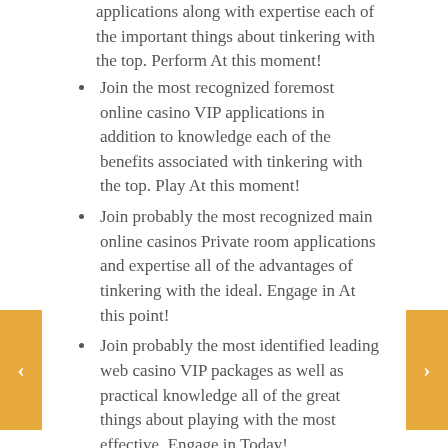applications along with expertise each of the important things about tinkering with the top. Perform At this moment!
Join the most recognized foremost online casino VIP applications in addition to knowledge each of the benefits associated with tinkering with the top. Play At this moment!
Join probably the most recognized main online casinos Private room applications and expertise all of the advantages of tinkering with the ideal. Engage in At this point!
Join probably the most identified leading web casino VIP packages as well as practical knowledge all of the great things about playing with the most effective. Engage in Today!
Grease the bottom of this cake pot. After due thought, and in some cases i might approach investigation documents get